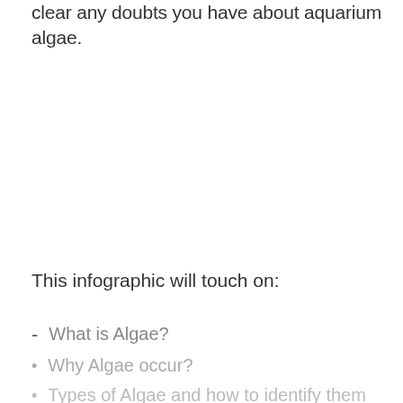clear any doubts you have about aquarium algae.
This infographic will touch on:
What is Algae?
Why Algae occur?
Types of Algae and how to identify them